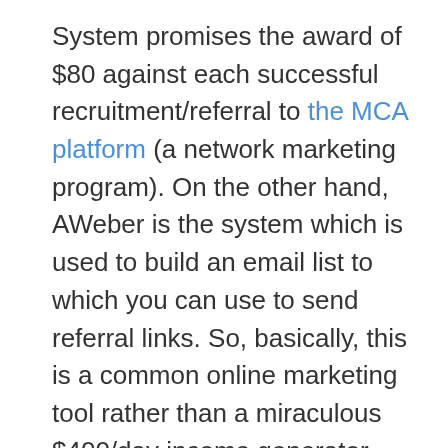System promises the award of $80 against each successful recruitment/referral to the MCA platform (a network marketing program). On the other hand, AWeber is the system which is used to build an email list to which you can use to send referral links. So, basically, this is a common online marketing tool rather than a miraculous $400/day income generator. Apart from Ebates, the remaining two platforms require paid subscription. In the case of AWeber, you can have a 30-day free trial followed by a monthly fee ranging from $19 to $100+.
Essentially, it doesn't to convert to be...